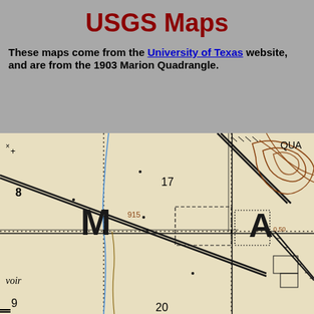USGS Maps
These maps come from the University of Texas website, and are from the 1903 Marion Quadrangle.
[Figure (map): 1903 Marion Quadrangle USGS topographic map excerpt showing survey grid sections, topographic contour lines, section numbers (17, 20), elevation markers (915, 0.50), letter labels (M, A), and notations including 'voir' and 'QUA'. Map features include railroad lines, roads, dotted boundary lines, and brown contour terrain features in upper right.]